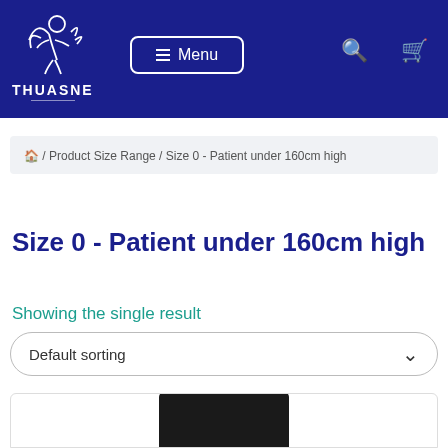[Figure (logo): Thuasne brand logo with angel/cherub figure and THUASNE text on dark blue background with teal accent section, Menu button, search and cart icons]
🏠 / Product Size Range / Size 0 - Patient under 160cm high
Size 0 - Patient under 160cm high
Showing the single result
Default sorting
[Figure (photo): Partial product image visible at bottom of page]